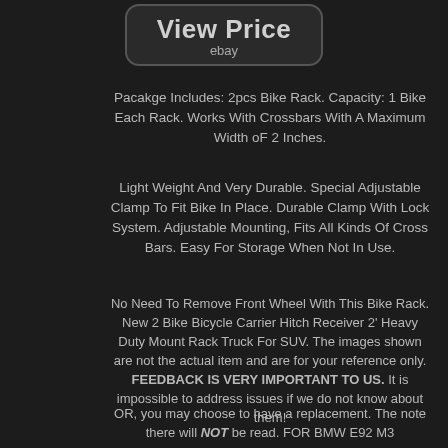[Figure (screenshot): View Price button with ebay text, dark background with rounded border]
Pacakge Includes: 2pcs Bike Rack. Capacity: 1 Bike Each Rack. Works With Crossbars With A Maximum Width oF 2 Inches.
Light Weight And Very Durable. Special Adjustable Clamp To Fit Bike In Place. Durable Clamp With Lock System. Adjustable Mounting, Fits All Kinds Of Cross Bars. Easy For Storage When Not In Use.
No Need To Remove Front Wheel With This Bike Rack. New 2 Bike Bicycle Carrier Hitch Receiver 2' Heavy Duty Mount Rack Truck For SUV. The images shown are not the actual item and are for your reference only. FEEDBACK IS VERY IMPORTANT TO US. It is impossible to address issues if we do not know about them!
OR, you may choose to have a replacement. The note there will NOT be read. FOR BMW E92 M3